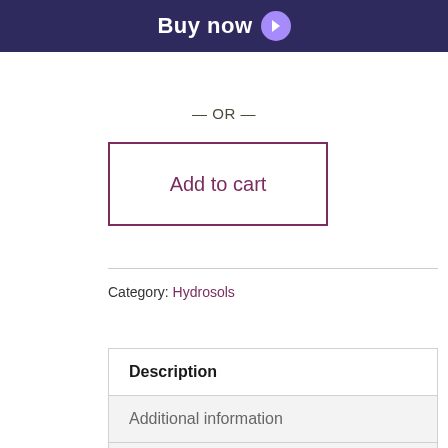[Figure (other): Buy now button bar with dark navy/purple background and white bold text 'Buy now' with a purple circle arrow icon]
— OR —
Add to cart
Category: Hydrosols
Description
Additional information
Reviews (0)
Description